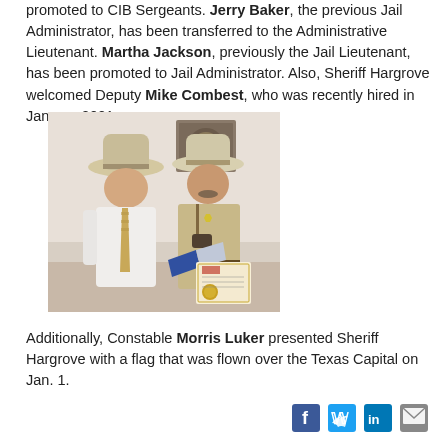promoted to CIB Sergeants. Jerry Baker, the previous Jail Administrator, has been transferred to the Administrative Lieutenant. Martha Jackson, previously the Jail Lieutenant, has been promoted to Jail Administrator. Also, Sheriff Hargrove welcomed Deputy Mike Combest, who was recently hired in January 2021.
[Figure (photo): Two men wearing cowboy hats standing indoors. The man on the left wears a white shirt and tie; the man on the right wears a tan sheriff uniform with a badge and binoculars. The man on the right holds a folded flag and a certificate with a gold seal. A framed Texas seal is on the wall behind them.]
Additionally, Constable Morris Luker presented Sheriff Hargrove with a flag that was flown over the Texas Capital on Jan. 1.
[Figure (infographic): Social media icons: Facebook, Twitter, LinkedIn, Email]